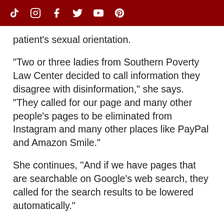[Social media icons: TikTok, Instagram, Facebook, Twitter, YouTube, Pinterest]
patient's sexual orientation.
"Two or three ladies from Southern Poverty Law Center decided to call information they disagree with disinformation," she says. "They called for our page and many other people's pages to be eliminated from Instagram and many other places like PayPal and Amazon Smile."
She continues, "And if we have pages that are searchable on Google's web search, they called for the search results to be lowered automatically."
While hat forming Prall, and h...